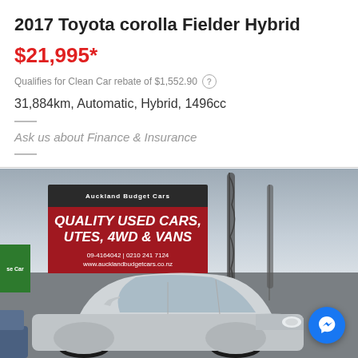2017 Toyota corolla Fielder Hybrid
$21,995*
Qualifies for Clean Car rebate of $1,552.90
31,884km, Automatic, Hybrid, 1496cc
Ask us about Finance & Insurance
[Figure (photo): Exterior photo of a silver Toyota Corolla Fielder Hybrid at Auckland Budget Cars dealership lot, with a large red signboard reading QUALITY USED CARS, UTES, 4WD & VANS and feather flags in the background]